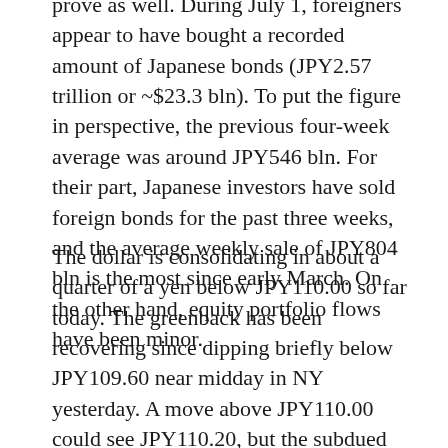prove as well. During July 1, foreigners appear to have bought a recorded amount of Japanese bonds (JPY2.57 trillion or ~$23.3 bln). To put the figure in perspective, the previous four-week average was around JPY546 bln. For their part, Japanese investors have sold foreign bonds for the past three weeks, and the average weekly sale of JPY804 bln is the most since early March. On the other hand, equity portfolio flows have been minor.
The dollar is consolidating in about a quarter of a yen below JPY110.00 so far today. The greenback has been recovering since dipping briefly below JPY109.60 near midday in NY yesterday. A move above JPY110.00 could see JPY110.20, but the subdued session will likely continue until the FOMC statement. The Australian dollar is stagnant. It remains within the range set on Monday ($0.7330-$0.7390). There is an option for A$710 mln at $0.7380 that expires today, and there are four clusters